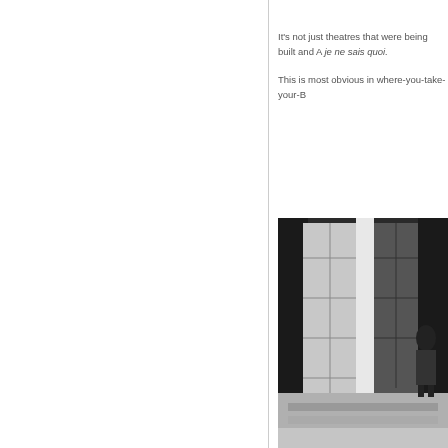It's not just theatres that were being built and A je ne sais quoi.

This is most obvious in where-you-take-your-B
[Figure (photo): Black and white photograph of a building exterior with large windows and stone steps, with a person partially visible]